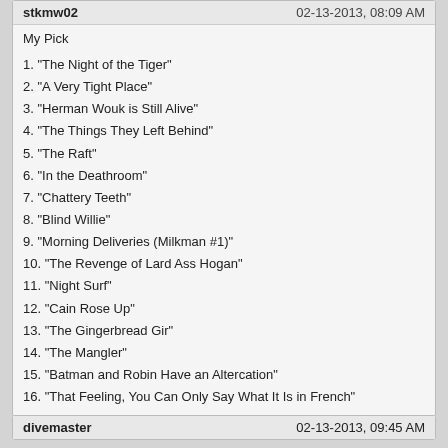stkmw02   02-13-2013, 08:09 AM
My Pick
1. "The Night of the Tiger"
2. "A Very Tight Place"
3. "Herman Wouk is Still Alive"
4. "The Things They Left Behind"
5. "The Raft"
6. "In the Deathroom"
7. "Chattery Teeth"
8. "Blind Willie"
9. "Morning Deliveries (Milkman #1)"
10. "The Revenge of Lard Ass Hogan"
11. "Night Surf"
12. "Cain Rose Up"
13. "The Gingerbread Gir"
14. "The Mangler"
15. "Batman and Robin Have an Altercation"
16. "That Feeling, You Can Only Say What It Is in French"
divemaster   02-13-2013, 09:45 AM